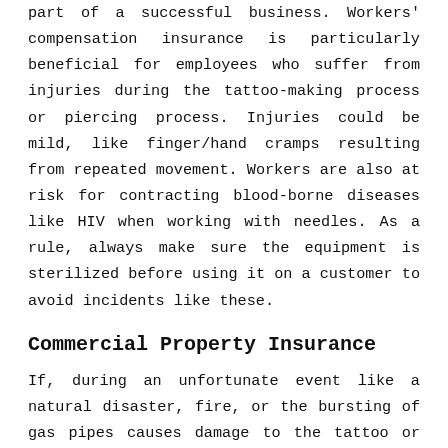part of a successful business. Workers' compensation insurance is particularly beneficial for employees who suffer from injuries during the tattoo-making process or piercing process. Injuries could be mild, like finger/hand cramps resulting from repeated movement. Workers are also at risk for contracting blood-borne diseases like HIV when working with needles. As a rule, always make sure the equipment is sterilized before using it on a customer to avoid incidents like these.
Commercial Property Insurance
If, during an unfortunate event like a natural disaster, fire, or the bursting of gas pipes causes damage to the tattoo or piercing shop, this type of insurance will cover it. It usually covers the shop, equipment, signage, and furniture.
Business Interruption Insurance